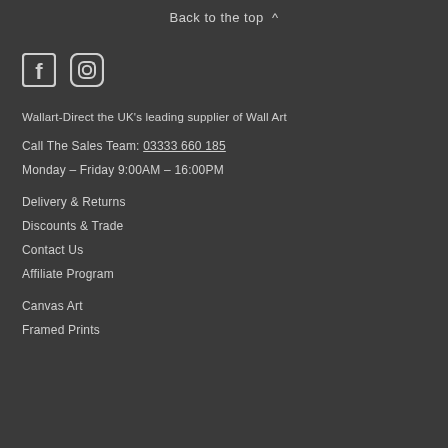Back to the top ^
[Figure (illustration): Social media icons: Facebook and Instagram]
Wallart-Direct the UK's leading supplier of Wall Art
Call The Sales Team: 03333 660 185
Monday – Friday 9:00AM – 16:00PM
Delivery & Returns
Discounts & Trade
Contact Us
Affiliate Program
Canvas Art
Framed Prints